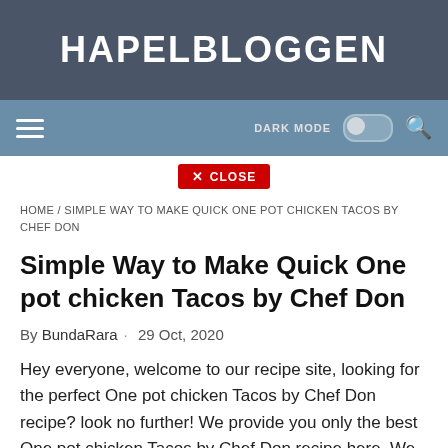HAPELBLOGGEN
[Figure (screenshot): Navigation bar with hamburger menu, DARK MODE toggle switch, and search icon on a blue-grey background]
[Figure (other): Red close button with X CLOSE label]
HOME / SIMPLE WAY TO MAKE QUICK ONE POT CHICKEN TACOS BY CHEF DON
Simple Way to Make Quick One pot chicken Tacos by Chef Don
By BundaRara · 29 Oct, 2020
Hey everyone, welcome to our recipe site, looking for the perfect One pot chicken Tacos by Chef Don recipe? look no further! We provide you only the best One pot chicken Tacos by Chef Don recipe here. We also have wide variety